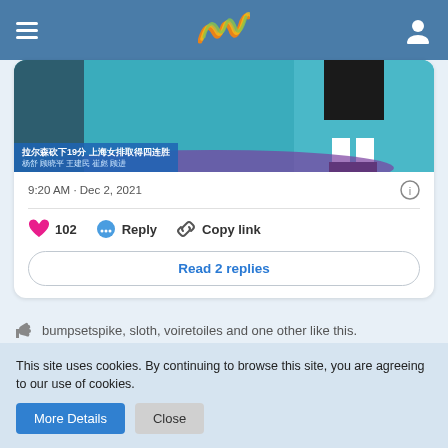[Figure (screenshot): Navigation bar with hamburger menu, logo (stylized W in orange/yellow/green), and user icon on blue background]
[Figure (photo): Sports news screenshot showing volleyball player legs on court with Chinese text overlay: 拉尔森砍下19分 上海女排取得四连胜]
9:20 AM · Dec 2, 2021
102  Reply  Copy link
Read 2 replies
bumpsetspike, sloth, voiretoiles and one other like this.
This site uses cookies. By continuing to browse this site, you are agreeing to our use of cookies.